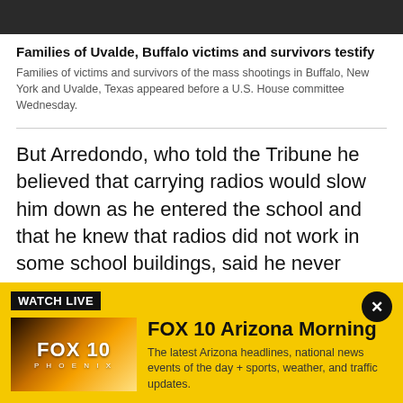[Figure (photo): Dark/dim top banner image, appears to be an outdoor scene]
Families of Uvalde, Buffalo victims and survivors testify
Families of victims and survivors of the mass shootings in Buffalo, New York and Uvalde, Texas appeared before a U.S. House committee Wednesday.
But Arredondo, who told the Tribune he believed that carrying radios would slow him down as he entered the school and that he knew that radios did not work in some school buildings, said he never considered himself the scene's incident commander and did not give any instruction that police should not attempt to breach the building.
[Figure (other): WATCH LIVE banner with FOX 10 Arizona Morning promotional content. FOX 10 Phoenix thumbnail on left, show title and description on right. Yellow background with close button.]